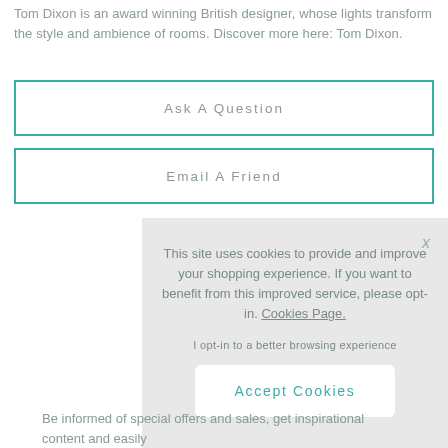Tom Dixon is an award winning British designer, whose lights transform the style and ambience of rooms. Discover more here: Tom Dixon.
Ask A Question
Email A Friend
This site uses cookies to provide and improve your shopping experience. If you want to benefit from this improved service, please opt-in. Cookies Page.

I opt-in to a better browsing experience
Accept Cookies
Be informed of special offers and sales, get inspirational content and easily manage your wishlist.